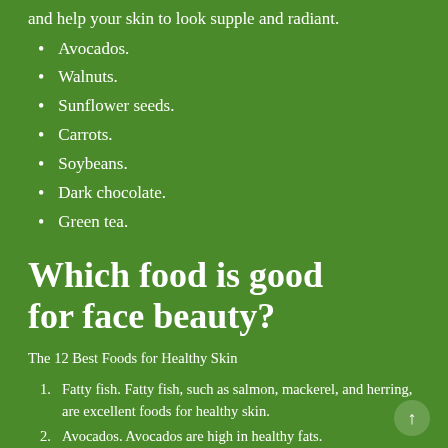...and help your skin to look supple and radiant.
Avocados.
Walnuts.
Sunflower seeds.
Carrots.
Soybeans.
Dark chocolate.
Green tea.
Which food is good for face beauty?
The 12 Best Foods for Healthy Skin
Fatty fish. Fatty fish, such as salmon, mackerel, and herring, are excellent foods for healthy skin.
Avocados. Avocados are high in healthy fats.
Walnuts.